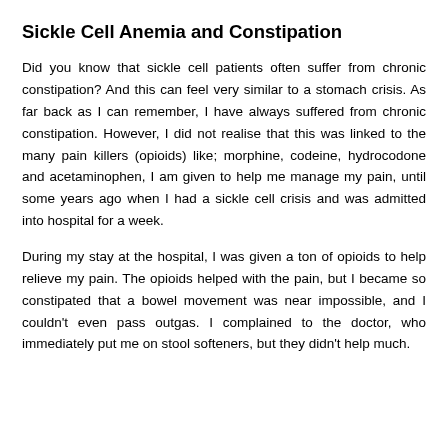Sickle Cell Anemia and Constipation
Did you know that sickle cell patients often suffer from chronic constipation? And this can feel very similar to a stomach crisis. As far back as I can remember, I have always suffered from chronic constipation. However, I did not realise that this was linked to the many pain killers (opioids) like; morphine, codeine, hydrocodone and acetaminophen, I am given to help me manage my pain, until some years ago when I had a sickle cell crisis and was admitted into hospital for a week.
During my stay at the hospital, I was given a ton of opioids to help relieve my pain. The opioids helped with the pain, but I became so constipated that a bowel movement was near impossible, and I couldn't even pass outgas. I complained to the doctor, who immediately put me on stool softeners, but they didn't help much.